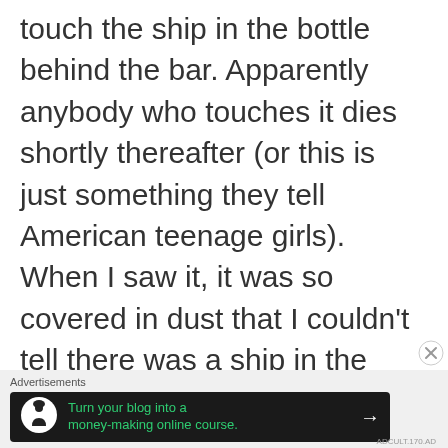touch the ship in the bottle behind the bar. Apparently anybody who touches it dies shortly thereafter (or this is just something they tell American teenage girls). When I saw it, it was so covered in dust that I couldn't tell there was a ship in the bottle. It's better to be safe than sorry.
Advertisements
[Figure (screenshot): Advertisement banner with dark background showing a tree/person icon in a circle, green text 'Turn your blog into a money-making online course.' and a white arrow pointing right]